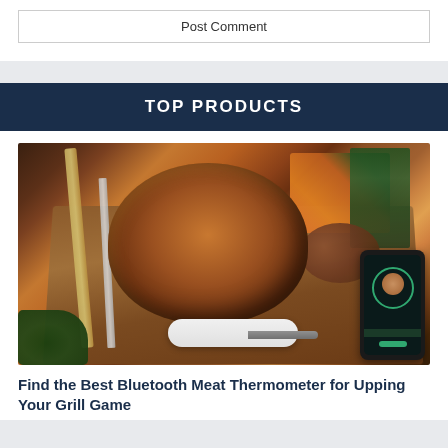Post Comment
TOP PRODUCTS
[Figure (photo): A roasted whole chicken on a wooden cutting board surrounded by carrots, green vegetables, potatoes, garlic, and fresh herbs. A meat thermometer probe device and a smartphone app are visible in the foreground. Carving knife and fork are also present.]
Find the Best Bluetooth Meat Thermometer for Upping Your Grill Game